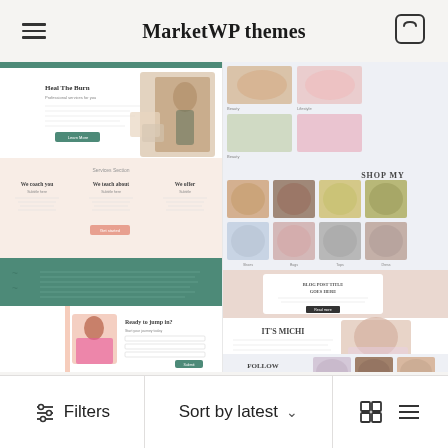MarketWP themes
[Figure (screenshot): Two WordPress theme screenshots side by side. Left: a feminine lifestyle/coaching website template with pink and teal sections, a woman smiling, a contact form, and a newsletter section. Right: a fashion/lifestyle blog template with a light blue background, shop my faves section with photo grid, blog post section, IT'S MICHI intro section, and FOLLOW ALONG social grid.]
Filters   Sort by latest   grid and list view icons